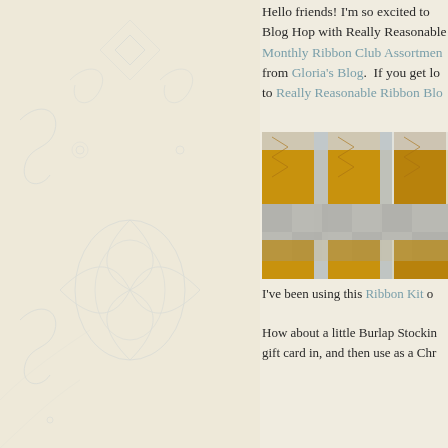[Figure (illustration): Left panel: cream/off-white background with faint blue-grey decorative scroll and floral watermark pattern]
Hello friends! I'm so excited to ... Blog Hop with Really Reasonable ... Monthly Ribbon Club Assortmen... from Gloria's Blog. If you get lo... to Really Reasonable Ribbon Blo...
[Figure (photo): Close-up photo of ribbon rolls: gold/bronze satin ribbons interwoven with silver/grey sheer ribbons, creating a woven checkerboard pattern]
I've been using this Ribbon Kit o... How about a little Burlap Stockin... gift card in, and then use as a Chr...